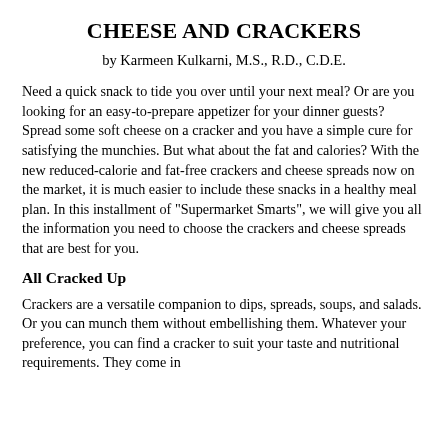CHEESE AND CRACKERS
by Karmeen Kulkarni, M.S., R.D., C.D.E.
Need a quick snack to tide you over until your next meal? Or are you looking for an easy-to-prepare appetizer for your dinner guests? Spread some soft cheese on a cracker and you have a simple cure for satisfying the munchies. But what about the fat and calories? With the new reduced-calorie and fat-free crackers and cheese spreads now on the market, it is much easier to include these snacks in a healthy meal plan. In this installment of "Supermarket Smarts", we will give you all the information you need to choose the crackers and cheese spreads that are best for you.
All Cracked Up
Crackers are a versatile companion to dips, spreads, soups, and salads. Or you can munch them without embellishing them. Whatever your preference, you can find a cracker to suit your taste and nutritional requirements. They come in